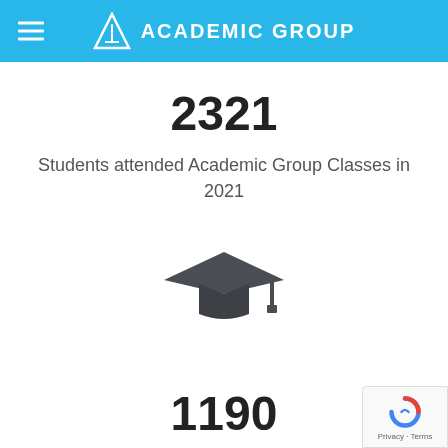ACADEMIC GROUP
2321
Students attended Academic Group Classes in 2021
[Figure (illustration): Graduation cap / mortarboard icon in dark gray]
1190